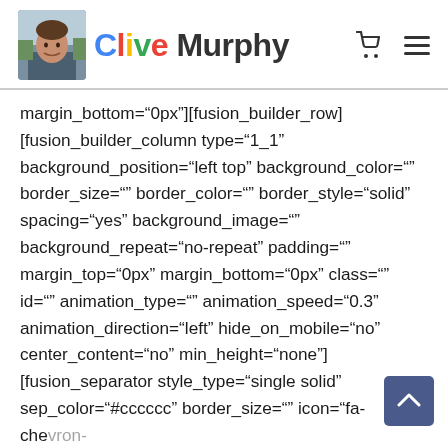Clive Murphy
margin_bottom="0px"][fusion_builder_row] [fusion_builder_column type="1_1" background_position="left top" background_color="" border_size="" border_color="" border_style="solid" spacing="yes" background_image="" background_repeat="no-repeat" padding="" margin_top="0px" margin_bottom="0px" class="" id="" animation_type="" animation_speed="0.3" animation_direction="left" hide_on_mobile="no" center_content="no" min_height="none"] [fusion_separator style_type="single solid" sep_color="#cccccc" border_size="" icon="fa-chevron-down" icon_margin="" icon_circle="" icon_circle_color="" width=""